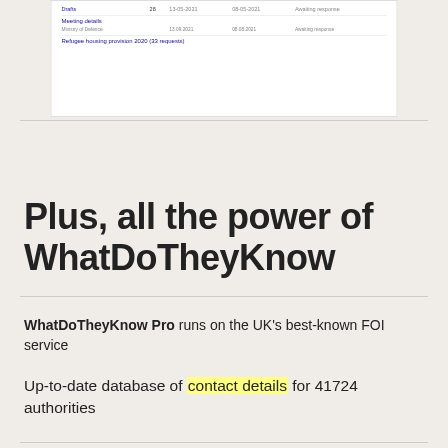[Figure (screenshot): Screenshot of WhatDoTheyKnow FOI request listing showing request rows with titles, dates, and statuses including 'Meeting details' (Ministry of Defence, 13.09.2021, 08.08.2021, Awaiting response) and 'Refugee housing provision 2020 (33 requests)']
Plus, all the power of WhatDoTheyKnow
WhatDoTheyKnow Pro runs on the UK's best-known FOI service
Up-to-date database of contact details for 41724 authorities